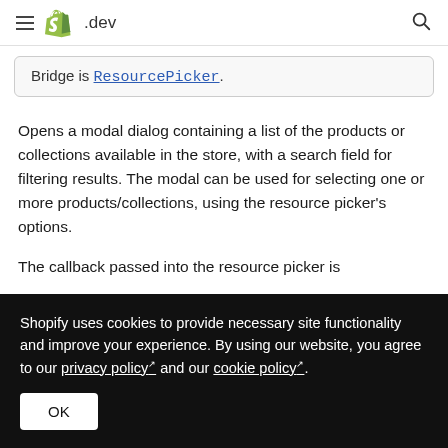≡ Shopify .dev 🔍
Bridge is ResourcePicker.
Opens a modal dialog containing a list of the products or collections available in the store, with a search field for filtering results. The modal can be used for selecting one or more products/collections, using the resource picker's options.
The callback passed into the resource picker is
Shopify uses cookies to provide necessary site functionality and improve your experience. By using our website, you agree to our privacy policy and our cookie policy.
OK